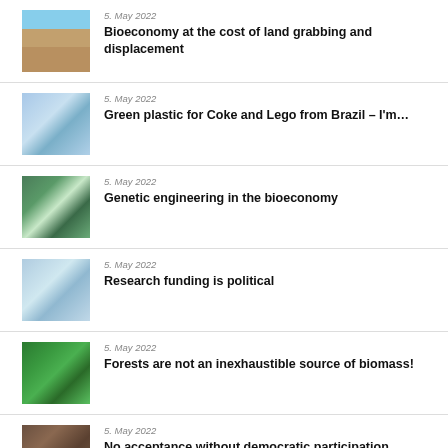5. May 2022 — Bioeconomy at the cost of land grabbing and displacement
5. May 2022 — Green plastic for Coke and Lego from Brazil – I'm…
5. May 2022 — Genetic engineering in the bioeconomy
5. May 2022 — Research funding is political
5. May 2022 — Forests are not an inexhaustible source of biomass!
5. May 2022 — No acceptance without democratic participation